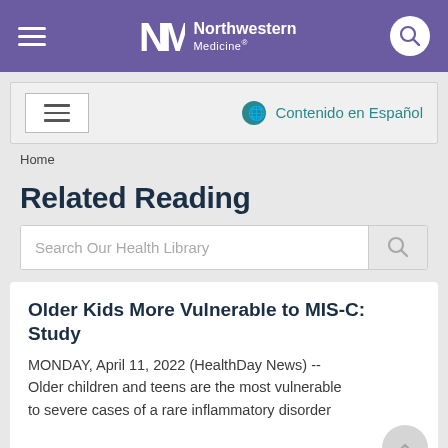Northwestern Medicine
[Figure (screenshot): Secondary navigation bar with hamburger menu and Contenido en Español link]
Home
Related Reading
[Figure (screenshot): Search Our Health Library search box]
Older Kids More Vulnerable to MIS-C: Study
MONDAY, April 11, 2022 (HealthDay News) -- Older children and teens are the most vulnerable to severe cases of a rare inflammatory disorder